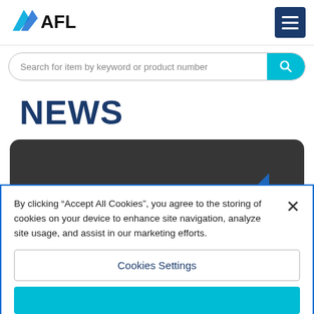[Figure (logo): AFL company logo with blue checkmark/wing icon and bold AFL text]
Search for item by keyword or product number
NEWS
[Figure (photo): Dark rounded card with blue accent triangle, partially visible news article image]
By clicking “Accept All Cookies”, you agree to the storing of cookies on your device to enhance site navigation, analyze site usage, and assist in our marketing efforts.
Cookies Settings